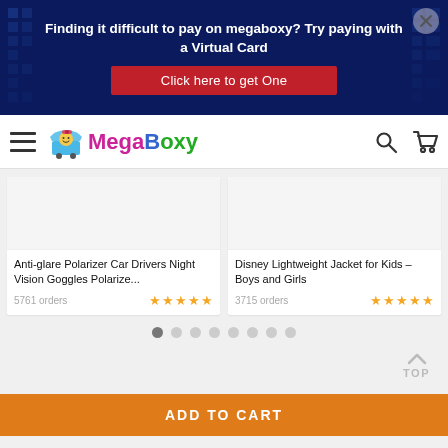[Figure (screenshot): Promotional banner with dark blue background and pixel/block pattern. Text: 'Finding it difficult to pay on megaboxy? Try paying with a Virtual Card' with a red button 'Click here to get One' and a close X button.]
[Figure (logo): MegaBoxy logo with shopping cart icon and colorful text: Mega in pink/purple, B in blue, oxy in green.]
Anti-glare Polarizer Car Drivers Night Vision Goggles Polarize...
5761 orders
Disney Lightweight Jacket for Kids – Boys and Girls
3715 orders
ADD TO CART